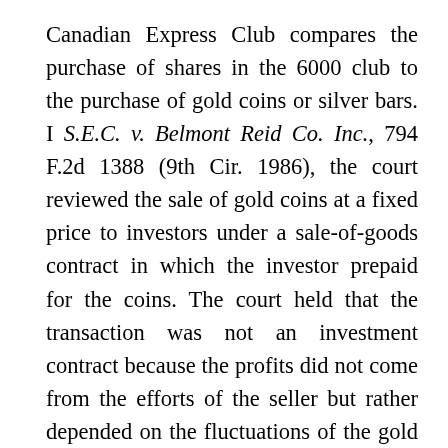Canadian Express Club compares the purchase of shares in the 6000 club to the purchase of gold coins or silver bars. I S.E.C. v. Belmont Reid Co. Inc., 794 F.2d 1388 (9th Cir. 1986), the court reviewed the sale of gold coins at a fixed price to investors under a sale-of-goods contract in which the investor prepaid for the coins. The court held that the transaction was not an investment contract because the profits did not come from the efforts of the seller but rather depended on the fluctuations of the gold market. Similarly, in NOA v. Key Futures, Inc., 638 F.2d 77 (9th Cir. 1980), the court held that no investment contract was created when an investor purchased silver bars pursuant to a contract of purchase in which the seller agreed to repurchase the bars at any time for the price quoted in the Wall Street Journal. The court determined that the profits to the investor